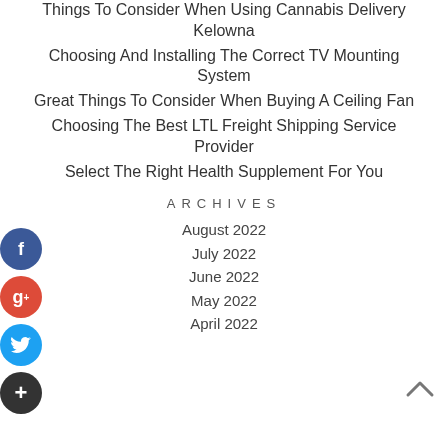Things To Consider When Using Cannabis Delivery Kelowna
Choosing And Installing The Correct TV Mounting System
Great Things To Consider When Buying A Ceiling Fan
Choosing The Best LTL Freight Shipping Service Provider
Select The Right Health Supplement For You
ARCHIVES
August 2022
July 2022
June 2022
May 2022
April 2022